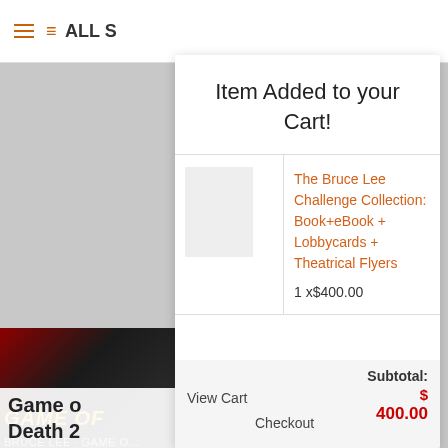≡ ALL S
Item Added to your Cart!
|  | Product |
| --- | --- |
|  | The Bruce Lee Challenge Collection: Book+eBook + Lobbycards + Theatrical Flyers
1 x$400.00 |
Subtotal:
$ 400.00
View Cart    Checkout
Game of Death 2